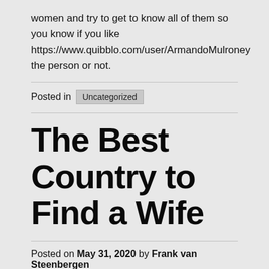women and try to get to know all of them so you know if you like https://www.quibblo.com/user/ArmandoMulroney the person or not.
Posted in Uncategorized
The Best Country to Find a Wife
Posted on May 31, 2020 by Frank van Steenbergen
Exactly, what is the best region to find a wife intended for? If you're trying to find your excellent wife, you might have come for